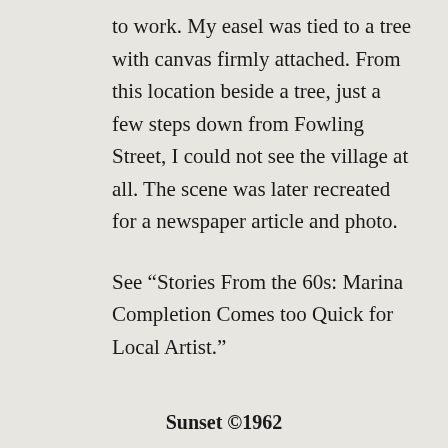to work. My easel was tied to a tree with canvas firmly attached. From this location beside a tree, just a few steps down from Fowling Street, I could not see the village at all. The scene was later recreated for a newspaper article and photo.
See “Stories From the 60s: Marina Completion Comes too Quick for Local Artist.”
Sunset ©1962